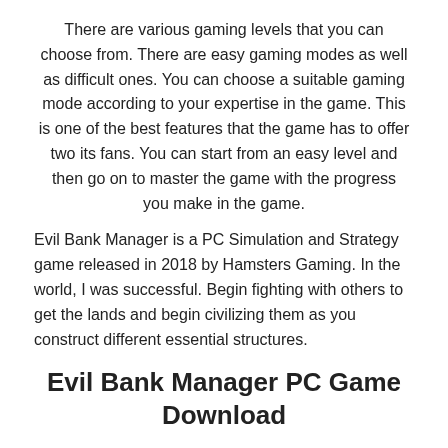There are various gaming levels that you can choose from. There are easy gaming modes as well as difficult ones. You can choose a suitable gaming mode according to your expertise in the game. This is one of the best features that the game has to offer two its fans. You can start from an easy level and then go on to master the game with the progress you make in the game.
Evil Bank Manager is a PC Simulation and Strategy game released in 2018 by Hamsters Gaming. In the world, I was successful. Begin fighting with others to get the lands and begin civilizing them as you construct different essential structures.
Evil Bank Manager PC Game Download